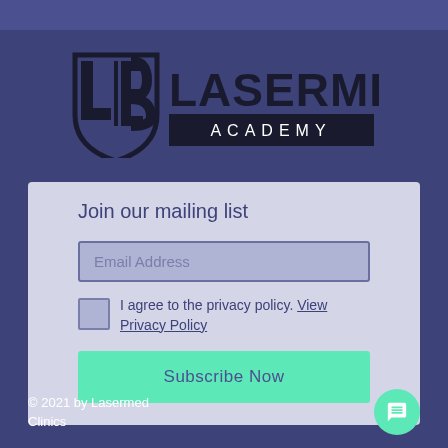[Figure (logo): Lasermed Academy logo with shield/LB icon and bold text]
Join our mailing list
Email Address
I agree to the privacy policy. View Privacy Policy
Subscribe Now
© 2021 by Lasermed Clinics